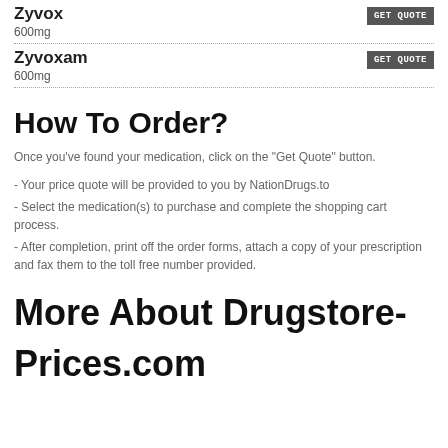Zyvox
600mg
Zyvoxam
600mg
How To Order?
Once you've found your medication, click on the 'Get Quote' button.
- Your price quote will be provided to you by NationDrugs.to
- Select the medication(s) to purchase and complete the shopping cart process.
- After completion, print off the order forms, attach a copy of your prescription and fax them to the toll free number provided.
More About Drugstore-

Prices.com